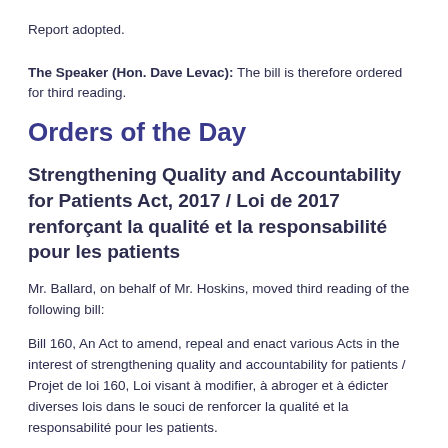Report adopted.
The Speaker (Hon. Dave Levac): The bill is therefore ordered for third reading.
Orders of the Day
Strengthening Quality and Accountability for Patients Act, 2017 / Loi de 2017 renforçant la qualité et la responsabilité pour les patients
Mr. Ballard, on behalf of Mr. Hoskins, moved third reading of the following bill:
Bill 160, An Act to amend, repeal and enact various Acts in the interest of strengthening quality and accountability for patients / Projet de loi 160, Loi visant à modifier, à abroger et à édicter diverses lois dans le souci de renforcer la qualité et la responsabilité pour les patients.